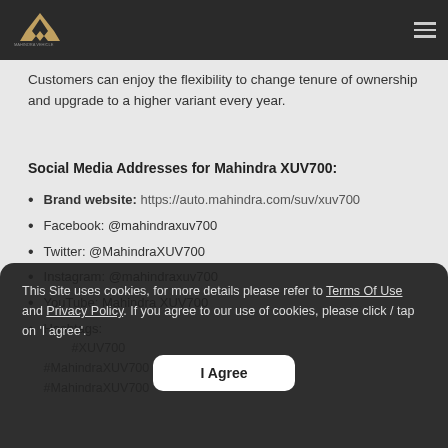Mahindra XUV700 - Brand website header with logo and hamburger menu
Customers can enjoy the flexibility to change tenure of ownership and upgrade to a higher variant every year.
Social Media Addresses for Mahindra XUV700:
Brand website: https://auto.mahindra.com/suv/xuv700
Facebook: @mahindraxuv700
Twitter: @MahindraXUV700
Instagram: @mahindraxuv700
YouTube: Mahindra XUV700
Hashtags: #XUV700 #MahindraXUV700 #MahindraXUV700
This Site uses cookies, for more details please refer to Terms Of Use and Privacy Policy. If you agree to our use of cookies, please click / tap on 'I agree'.